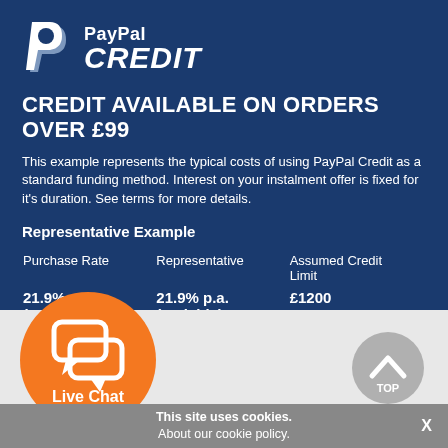[Figure (logo): PayPal Credit logo with stylized P icon and 'PayPal CREDIT' text in white on dark blue background]
CREDIT AVAILABLE ON ORDERS OVER £99
This example represents the typical costs of using PayPal Credit as a standard funding method. Interest on your instalment offer is fixed for it's duration. See terms for more details.
Representative Example
| Purchase Rate | Representative | Assumed Credit Limit |
| --- | --- | --- |
| 21.9% p.a. (variable) | 21.9% p.a. (variable) | £1200 |
[Figure (illustration): Orange circular Live Chat button with speech bubble icons and text 'Live Chat Ask a Question']
[Figure (illustration): Gray circular TOP button with upward chevron arrow and text 'TOP']
This site uses cookies. About our cookie policy.